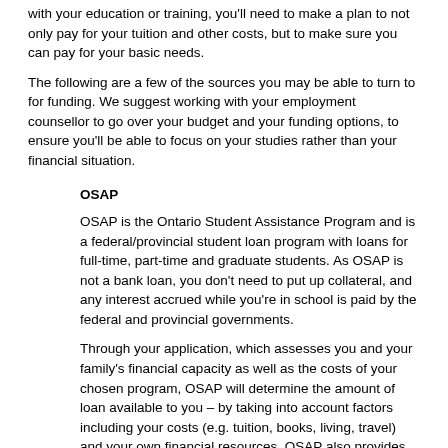with your education or training, you'll need to make a plan to not only pay for your tuition and other costs, but to make sure you can pay for your basic needs.
The following are a few of the sources you may be able to turn to for funding. We suggest working with your employment counsellor to go over your budget and your funding options, to ensure you'll be able to focus on your studies rather than your financial situation.
OSAP
OSAP is the Ontario Student Assistance Program and is a federal/provincial student loan program with loans for full-time, part-time and graduate students. As OSAP is not a bank loan, you don't need to put up collateral, and any interest accrued while you're in school is paid by the federal and provincial governments.
Through your application, which assesses you and your family's financial capacity as well as the costs of your chosen program, OSAP will determine the amount of loan available to you – by taking into account factors including your costs (e.g. tuition, books, living, travel) and your own financial resources. OSAP also provides scholarships, bursaries and grants, based on your academic achievement or special circumstances.